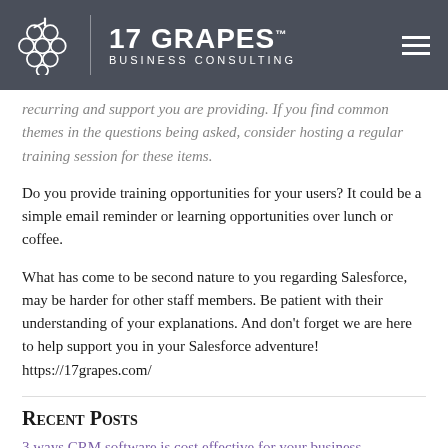[Figure (logo): 17 Grapes Business Consulting logo with grape cluster icon on dark gray header bar with hamburger menu icon]
recurring and support you are providing. If you find common themes in the questions being asked, consider hosting a regular training session for these items.
Do you provide training opportunities for your users? It could be a simple email reminder or learning opportunities over lunch or coffee.
What has come to be second nature to you regarding Salesforce, may be harder for other staff members. Be patient with their understanding of your explanations. And don't forget we are here to help support you in your Salesforce adventure! https://17grapes.com/
Recent Posts
3 ways CRM software is cost effective for your business